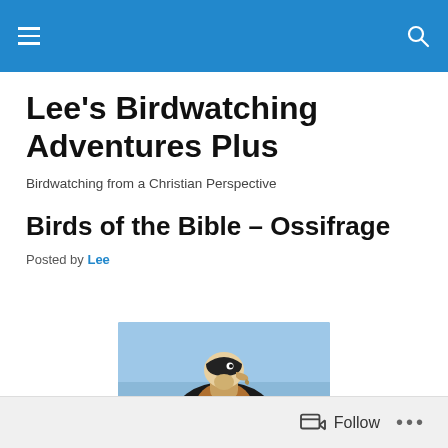Lee's Birdwatching Adventures Plus — navigation bar
Lee's Birdwatching Adventures Plus
Birdwatching from a Christian Perspective
Birds of the Bible – Ossifrage
Posted by Lee
[Figure (photo): A large bird of prey (Bearded Vulture / Ossifrage) photographed against a light blue sky, showing its distinctive hooked beak and dark/russet plumage.]
Follow  •••